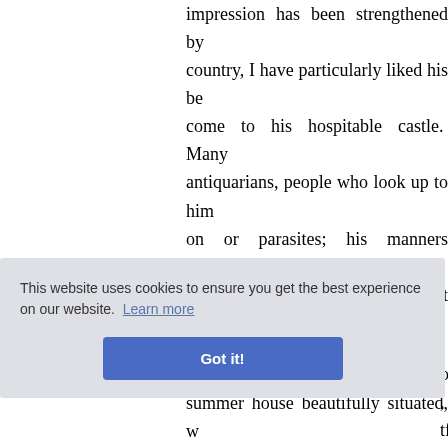impression has been strengthened by coming to his country, I have particularly liked his behaviour to all who come to his hospitable castle. Many of them are antiquarians, people who look up to him, or who sponge on or parasites; his manners perfectly at his ease, and I never heard any one attempt to flatter him or his habits. This I early observed, but have spent many days with him. He has, indeed, such variety of works: how he has time to write them is a wonder; for a great part of his time out of doors is occupied. I heard a gentleman say to him, "You have just like Walter; do you advise much thinning, or not?" At that time. If you thin much at a time, you let
of Abbo, we have tful drive ladies b f Ettrick e height, by the riv
summer house beautifully situated, w
[Figure (screenshot): Cookie consent banner with text 'This website uses cookies to ensure you get the best experience on our website. Learn more' and a blue 'Got it!' button.]